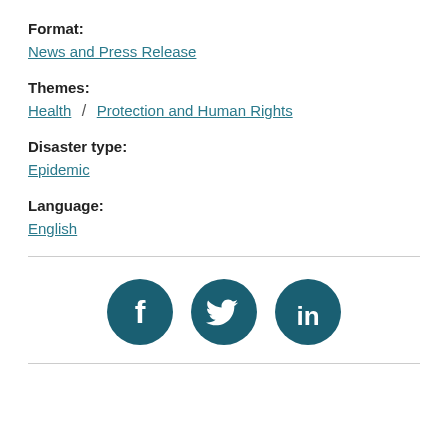Format:
News and Press Release
Themes:
Health  /  Protection and Human Rights
Disaster type:
Epidemic
Language:
English
[Figure (infographic): Social media icons: Facebook, Twitter, LinkedIn as dark teal circular buttons]